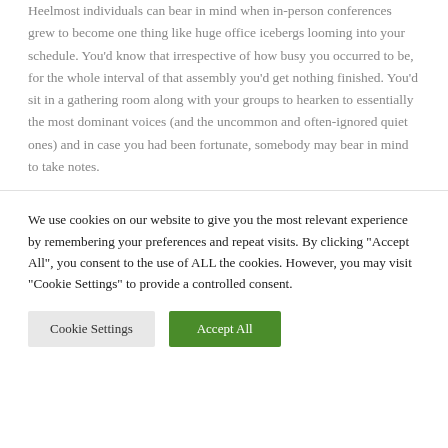Heelmost individuals can bear in mind when in-person conferences grew to become one thing like huge office icebergs looming into your schedule. You'd know that irrespective of how busy you occurred to be, for the whole interval of that assembly you'd get nothing finished. You'd sit in a gathering room along with your groups to hearken to essentially the most dominant voices (and the uncommon and often-ignored quiet ones) and in case you had been fortunate, somebody may bear in mind to take notes.
We use cookies on our website to give you the most relevant experience by remembering your preferences and repeat visits. By clicking "Accept All", you consent to the use of ALL the cookies. However, you may visit "Cookie Settings" to provide a controlled consent.